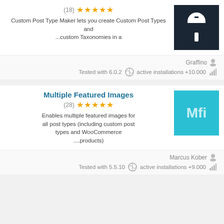[Figure (screenshot): Dark background plugin thumbnail with a white mailbox/letter icon]
Custom Post Type Maker lets you create Custom Post Types and ...custom Taxonomies in a
Graffino
Tested with 6.0.2  active installations +10.000
Multiple Featured Images
(28) ★★★★★
Enables multiple featured images for all post types (including custom post types and WooCommerce ....products)
[Figure (logo): Teal background with white Mfi text logo for Multiple Featured Images plugin]
Marcus Kober
Tested with 5.5.10  active installations +9.000